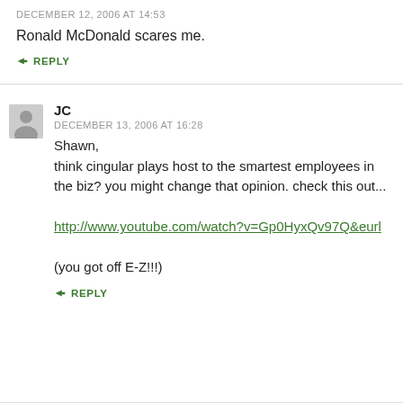DECEMBER 12, 2006 AT 14:53
Ronald McDonald scares me.
↳ REPLY
JC
DECEMBER 13, 2006 AT 16:28
Shawn,
think cingular plays host to the smartest employees in the biz? you might change that opinion. check this out...

http://www.youtube.com/watch?v=Gp0HyxQv97Q&eurl

(you got off E-Z!!!)
↳ REPLY